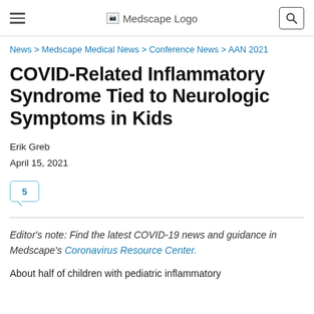Medscape Logo
News > Medscape Medical News > Conference News > AAN 2021
COVID-Related Inflammatory Syndrome Tied to Neurologic Symptoms in Kids
Erik Greb
April 15, 2021
5
Editor's note: Find the latest COVID-19 news and guidance in Medscape's Coronavirus Resource Center.
About half of children with pediatric inflammatory